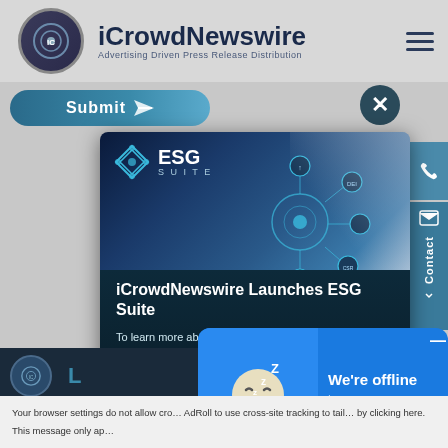[Figure (screenshot): iCrowdNewswire website header with logo, brand name, tagline, and hamburger menu]
[Figure (screenshot): ESG Suite popup advertisement showing ESG Suite logo, network diagram, professional woman with tablet, and text about iCrowdNewswire launching ESG Suite with description about learning about global ESG communications]
[Figure (screenshot): Chat widget showing sleeping emoji with 'We're offline' and 'Leave a message' text]
Your browser settings do not allow cross-site tracking. This prevents AdRoll to use cross-site tracking to tailor ads for you. You can opt out by clicking here. This message only ap